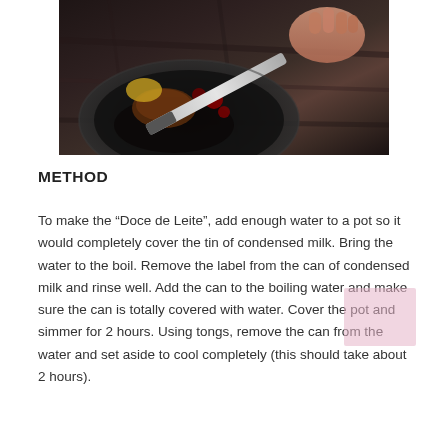[Figure (photo): Dark moody food photograph showing a black plate with food items, a knife, and a hand visible at top right, on a dark textured wooden surface.]
METHOD
To make the “Doce de Leite”, add enough water to a pot so it would completely cover the tin of condensed milk. Bring the water to the boil. Remove the label from the can of condensed milk and rinse well. Add the can to the boiling water and make sure the can is totally covered with water. Cover the pot and simmer for 2 hours. Using tongs, remove the can from the water and set aside to cool completely (this should take about 2 hours).